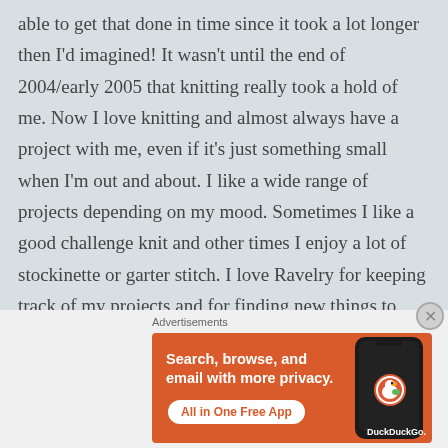able to get that done in time since it took a lot longer then I'd imagined! It wasn't until the end of 2004/early 2005 that knitting really took a hold of me. Now I love knitting and almost always have a project with me, even if it's just something small when I'm out and about. I like a wide range of projects depending on my mood. Sometimes I like a good challenge knit and other times I enjoy a lot of stockinette or garter stitch. I love Ravelry for keeping track of my projects and for finding new things to knit - I feel like I'm always spending time on there! It's also a great place for
Advertisements
[Figure (screenshot): DuckDuckGo advertisement banner with orange background. Left side has white bold text 'Search, browse, and email with more privacy.' with a white rounded button 'All in One Free App'. Right side shows a dark smartphone with DuckDuckGo logo and 'DuckDuckGo.' text.]